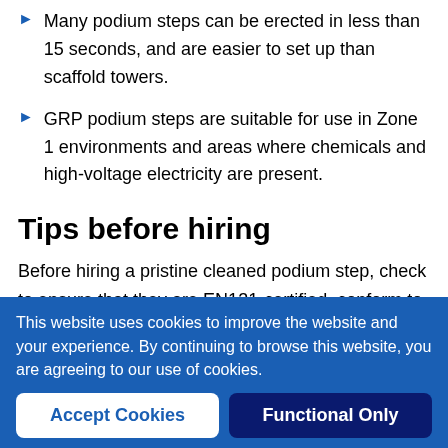Many podium steps can be erected in less than 15 seconds, and are easier to set up than scaffold towers.
GRP podium steps are suitable for use in Zone 1 environments and areas where chemicals and high-voltage electricity are present.
Tips before hiring
Before hiring a pristine cleaned podium step, check to ensure that they are EN131-certified, conform to HSE guidelines, and are suitable for use in your working environment, especially if it's Zone 1. You should make sure
This website uses cookies to improve the website and your experience. By continuing to browse this website, you are agreeing to our use of cookies.
Accept Cookies | Functional Only